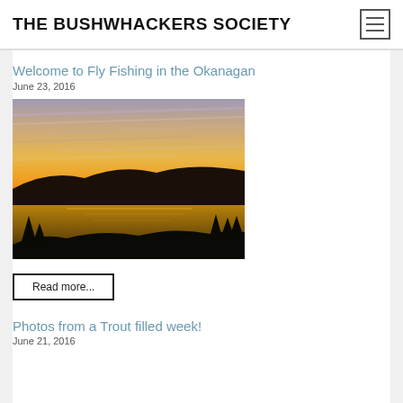THE BUSHWHACKERS SOCIETY
Welcome to Fly Fishing in the Okanagan
June 23, 2016
[Figure (photo): Landscape photo of a lake at sunset with silhouetted hills and trees, dramatic orange and pink streaked sky reflected in the water.]
Read more...
Photos from a Trout filled week!
June 21, 2016